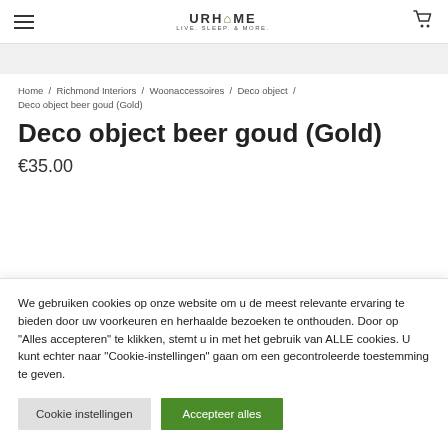URHOME LIVE. SLEEP. & MORE.
Home / Richmond Interiors / Woonaccessoires / Deco object / Deco object beer goud (Gold)
Deco object beer goud (Gold)
€35.00
We gebruiken cookies op onze website om u de meest relevante ervaring te bieden door uw voorkeuren en herhaalde bezoeken te onthouden. Door op "Alles accepteren" te klikken, stemt u in met het gebruik van ALLE cookies. U kunt echter naar "Cookie-instellingen" gaan om een gecontroleerde toestemming te geven.
Cookie instellingen | Accepteer alles